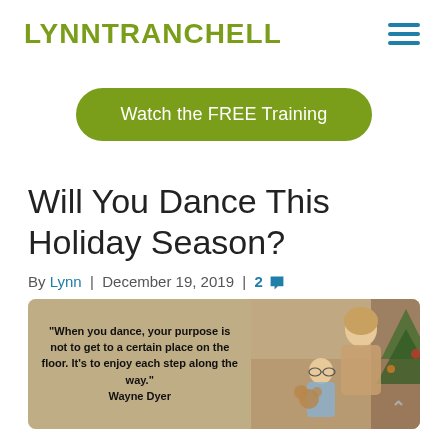LYNNTRANCHELL
Watch the FREE Training
Will You Dance This Holiday Season?
By Lynn | December 19, 2019 | 2
[Figure (photo): Photo of a woman and child with a Christmas tree, overlaid with a Wayne Dyer quote: 'When you dance, your purpose is not to get to a certain place on the floor. It's to enjoy each step along the way.' Wayne Dyer]